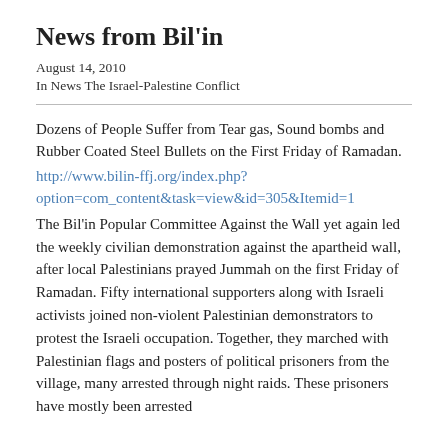News from Bil'in
August 14, 2010
In News The Israel-Palestine Conflict
Dozens of People Suffer from Tear gas, Sound bombs and Rubber Coated Steel Bullets on the First Friday of Ramadan.
http://www.bilin-ffj.org/index.php?option=com_content&task=view&id=305&Itemid=1
The Bil'in Popular Committee Against the Wall yet again led the weekly civilian demonstration against the apartheid wall, after local Palestinians prayed Jummah on the first Friday of Ramadan. Fifty international supporters along with Israeli activists joined non-violent Palestinian demonstrators to protest the Israeli occupation. Together, they marched with Palestinian flags and posters of political prisoners from the village, many arrested through night raids. These prisoners have mostly been arrested